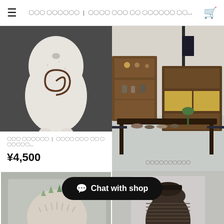≡  ??? ?????? | ???? ??? ?? ?????? ??...  🛒
[Figure (photo): White ceramic sculpture with spiral pattern and small feet on dark background]
[Figure (photo): Japanese antique shop interior with furniture, ceramics, tea bowls on display table]
??? ?????? | ???? ??? ?? ??????...
¥4,500
??????????
[Figure (photo): Close-up of textured ceramic object with green accents on grey background]
[Figure (photo): Dark ceramic vase with figure-like form with horizontal striped texture]
Chat with shop